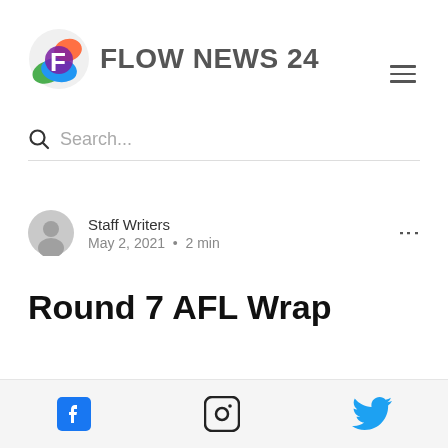[Figure (logo): Flow News 24 logo with colorful F icon and grey text FLOW NEWS 24]
Search...
Staff Writers
May 2, 2021 · 2 min
Round 7 AFL Wrap
[Figure (infographic): Footer bar with Facebook, Instagram, and Twitter social media icons]